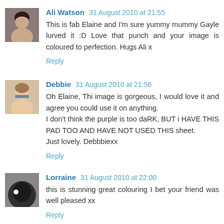Ali Watson 31 August 2010 at 21:55
This is fab Elaine and I'm sure yummy mummy Gayle lurved it :D Love that punch and your image is coloured to perfection. Hugs Ali x
Reply
Debbie 31 August 2010 at 21:56
Oh Elaine, Thi image is gorgeous, I would love it and agree you could use it on anything.
I don't think the purple is too daRK, BUT i HAVE THIS PAD TOO AND HAVE NOT USED THIS sheet.
Just lovely. Debbbiexx
Reply
Lorraine 31 August 2010 at 22:00
this is stunning great colouring I bet your friend was well pleased xx
Reply